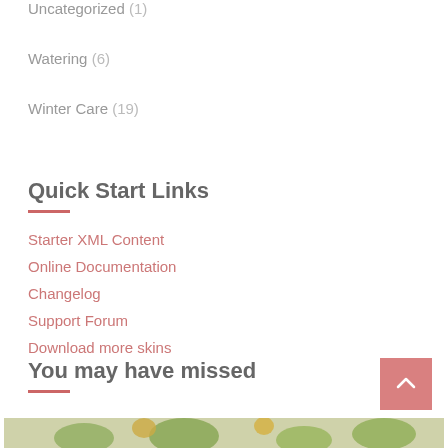Uncategorized (1)
Watering (6)
Winter Care (19)
Quick Start Links
Starter XML Content
Online Documentation
Changelog
Support Forum
Download more skins
You may have missed
[Figure (photo): Partial view of a plant with yellow flowers and green leaves at the bottom of the page]